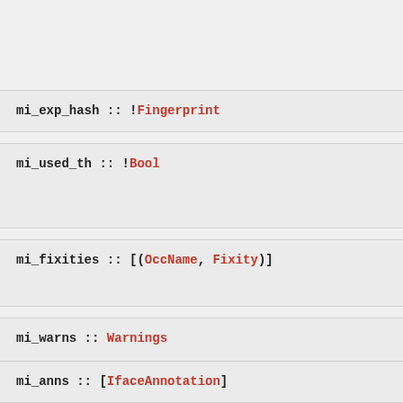mi_exp_hash :: !Fingerprint
mi_used_th :: !Bool
mi_fixities :: [(OccName, Fixity)]
mi_warns :: Warnings
mi_anns :: [IfaceAnnotation]